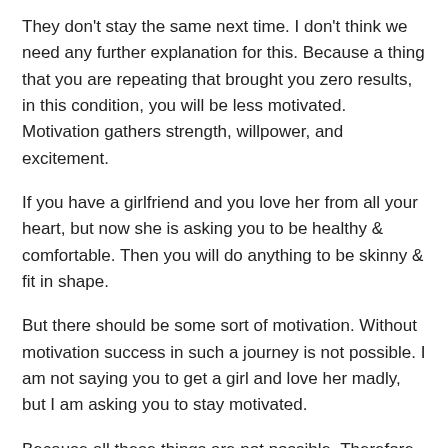They don't stay the same next time. I don't think we need any further explanation for this. Because a thing that you are repeating that brought you zero results, in this condition, you will be less motivated. Motivation gathers strength, willpower, and excitement.
If you have a girlfriend and you love her from all your heart, but now she is asking you to be healthy & comfortable. Then you will do anything to be skinny & fit in shape.
But there should be some sort of motivation. Without motivation success in such a journey is not possible. I am not saying you to get a girl and love her madly, but I am asking you to stay motivated.
Because all these things are not possible. Therefore, this internet world is where a lot of people are duped or provided with golden words or opportunities.
Not everyone found those golden things here. Sometimes it is your luck and in many cases, your knowledge would matter. The